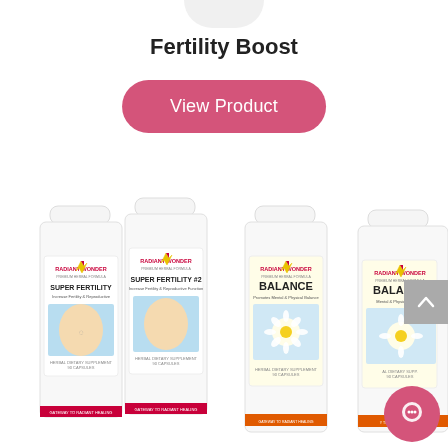Fertility Boost
View Product
[Figure (photo): Four white supplement bottles from Radiant Wonder brand: Super Fertility #1, Super Fertility #2, Balance, and a fourth Balance bottle partially visible. Each bottle has the Radiant Wonder logo and classic artwork imagery on the label. Herbal Dietary Supplement, 90 Capsules.]
[Figure (other): Gray scroll-to-top arrow button on the right side]
[Figure (other): Pink circular chat support button at bottom right]